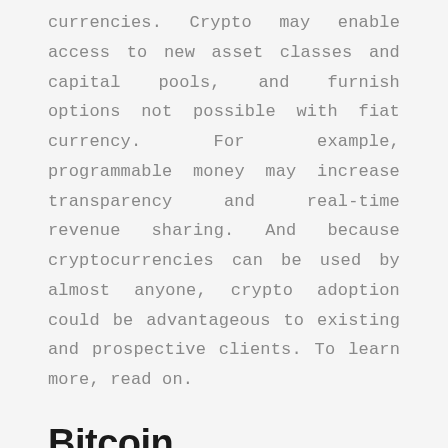currencies. Crypto may enable access to new asset classes and capital pools, and furnish options not possible with fiat currency. For example, programmable money may increase transparency and real-time revenue sharing. And because cryptocurrencies can be used by almost anyone, crypto adoption could be advantageous to existing and prospective clients. To learn more, read on.
Bitcoin
When you're making a transaction using crypto, you're transferring money between people without the need for a third-party. This is a great benefit, but there are a few misconceptions surrounding this currency. First,